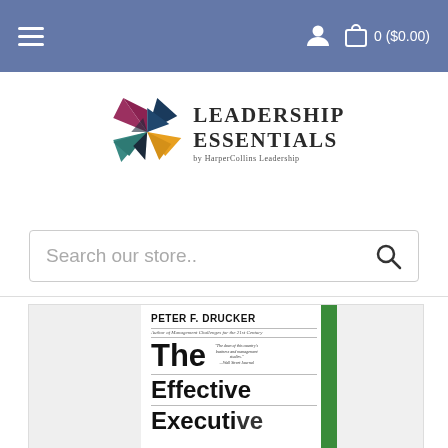Navigation bar with hamburger menu, user icon, and cart: 0 ($0.00)
[Figure (logo): Leadership Essentials by HarperCollins Leadership logo with colorful pinwheel/origami bird shape]
Search our store..
[Figure (photo): Book cover of The Effective Executive by Peter F. Drucker, with green spine bar on right side]